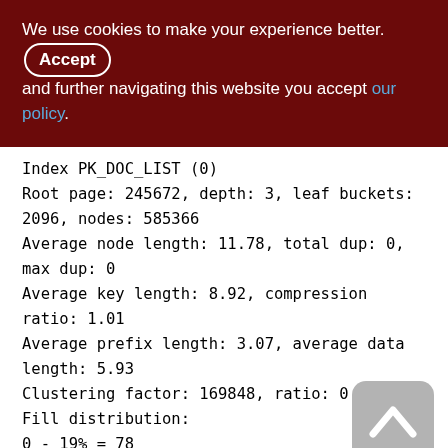We use cookies to make your experience better. By accepting and further navigating this website you accept our policy.
Index PK_DOC_LIST (0)
Root page: 245672, depth: 3, leaf buckets: 2096, nodes: 585366
Average node length: 11.78, total dup: 0, max dup: 0
Average key length: 8.92, compression ratio: 1.01
Average prefix length: 3.07, average data length: 5.93
Clustering factor: 169848, ratio: 0.29
Fill distribution:
0 - 19% = 78